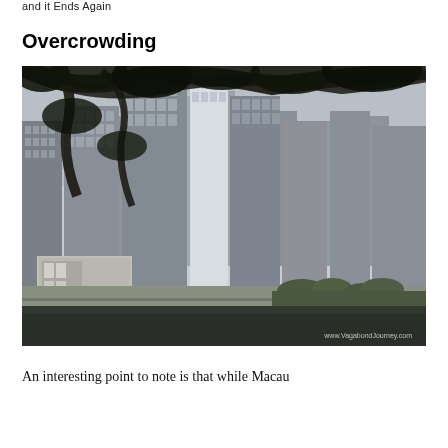and it Ends Again
Overcrowding
[Figure (photo): Dense urban cityscape showing tall residential and commercial high-rise buildings crowded together, with tree branches in the foreground and a street-level view. Watermark: www.VagabondJourney.com]
An interesting point to note is that while Macau